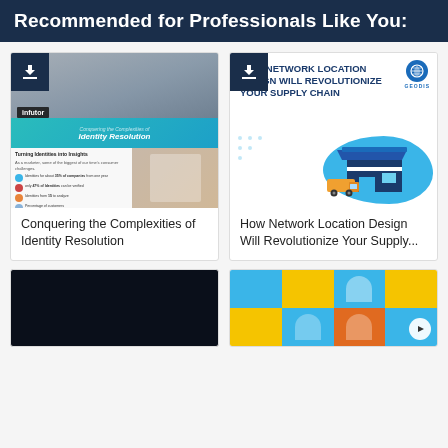Recommended for Professionals Like You:
[Figure (illustration): Thumbnail cover of 'Conquering the Complexities of Identity Resolution' by Infutor — crowd photo with teal banner overlay and interior page preview below.]
Conquering the Complexities of Identity Resolution
[Figure (illustration): Thumbnail cover of GEODIS whitepaper 'HOW NETWORK LOCATION DESIGN WILL REVOLUTIONIZE YOUR SUPPLY CHAIN' with warehouse illustration on blue blob background.]
How Network Location Design Will Revolutionize Your Supply...
[Figure (photo): Partial thumbnail showing a dark background — bottom card partially visible.]
[Figure (photo): Partial thumbnail showing a colorful mosaic of blue, yellow, and orange squares with person silhouettes, with a play button in the bottom right.]